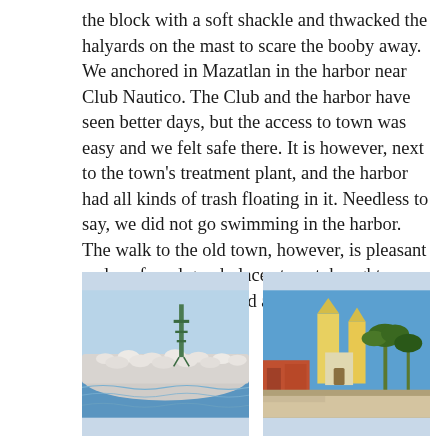the block with a soft shackle and thwacked the halyards on the mast to scare the booby away. We anchored in Mazatlan in the harbor near Club Nautico. The Club and the harbor have seen better days, but the access to town was easy and we felt safe there. It is however, next to the town's treatment plant, and the harbor had all kinds of trash floating in it. Needless to say, we did not go swimming in the harbor. The walk to the old town, however, is pleasant and we found good places to eat, bought some fused glass glasses, and a new traditional shirt for each of us.
[Figure (photo): Photo of a large group of white birds (likely boobies or pelicans) resting on rocks or a breakwater near the water, with a green metal tower/structure visible in the background and blue water in the foreground.]
[Figure (photo): Photo of a town plaza or street scene in Mazatlan, showing a yellow-towered church or cathedral in the background, palm trees, and colorful buildings along a pedestrian walkway under a blue sky.]